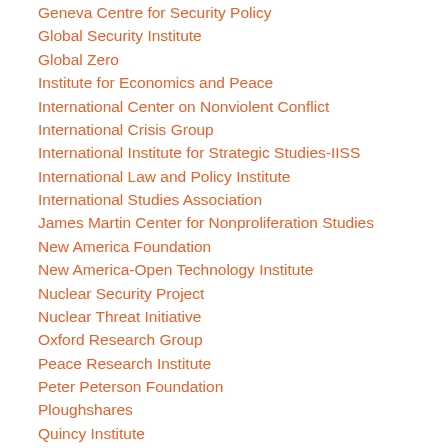Geneva Centre for Security Policy
Global Security Institute
Global Zero
Institute for Economics and Peace
International Center on Nonviolent Conflict
International Crisis Group
International Institute for Strategic Studies-IISS
International Law and Policy Institute
International Studies Association
James Martin Center for Nonproliferation Studies
New America Foundation
New America-Open Technology Institute
Nuclear Security Project
Nuclear Threat Initiative
Oxford Research Group
Peace Research Institute
Peter Peterson Foundation
Ploughshares
Quincy Institute